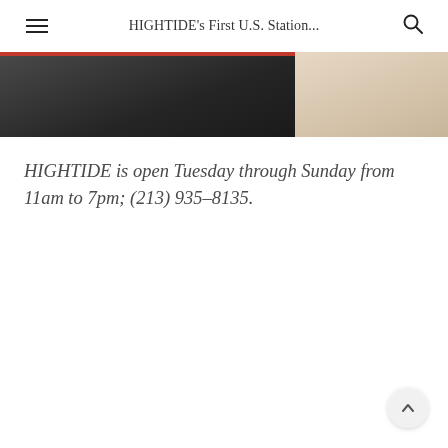HIGHTIDE's First U.S. Station...
[Figure (photo): Partial photo of an interior space, dark on the left side and lighter/cream-toned on the right side, with a red bar at the top-left edge.]
HIGHTIDE is open Tuesday through Sunday from 11am to 7pm; (213) 935-8135.